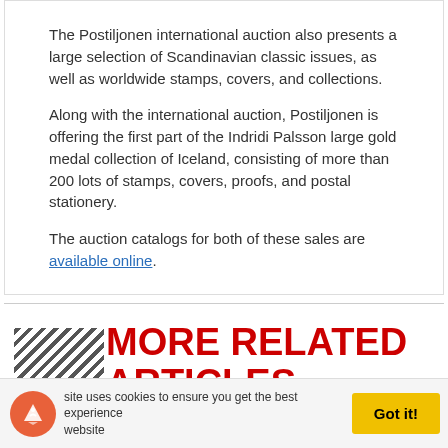The Postiljonen international auction also presents a large selection of Scandinavian classic issues, as well as worldwide stamps, covers, and collections.
Along with the international auction, Postiljonen is offering the first part of the Indridi Palsson large gold medal collection of Iceland, consisting of more than 200 lots of stamps, covers, proofs, and postal stationery.
The auction catalogs for both of these sales are available online.
MORE RELATED ARTICLES
site uses cookies to ensure you get the best experience website